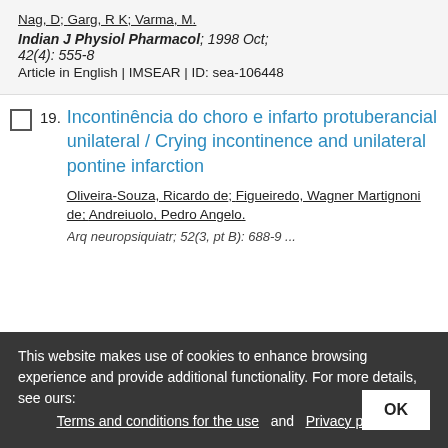Nag, D; Garg, R K; Varma, M.
Indian J Physiol Pharmacol; 1998 Oct; 42(4): 555-8
Article in English | IMSEAR | ID: sea-106448
19. Incontinência do choro e infarto protuberancial unilateral / Crying incontinence and unilateral pontine infarction
Oliveira-Souza, Ricardo de; Figueiredo, Wagner Martignoni de; Andreiuolo, Pedro Angelo.
Arq neuropsiquiatr; 52(3, pt B): 688-9 ...
This website makes use of cookies to enhance browsing experience and provide additional functionality. For more details, see ours: Terms and conditions for the use and Privacy policy